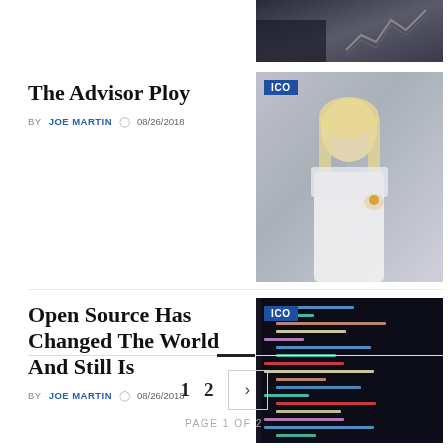[Figure (photo): Partial view of person in suit near financial chart, top right corner]
The Advisor Ploy
BY JOE MARTIN  08/26/2018
[Figure (photo): Woman with blonde hair in white shirt holding a coin, ICO badge in top left]
Open Source Has Changed The World And Still Is
BY JOE MARTIN  08/26/2018
[Figure (photo): Code editor with colorful syntax highlighting on dark screen, ICO badge in top left]
1  2  >  PAGE 1 OF 2